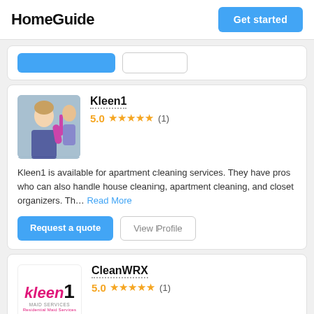HomeGuide | Get started
[Figure (screenshot): Partial view of top search bar with blue button and outline button]
Kleen1
5.0 ★★★★★ (1)
Kleen1 is available for apartment cleaning services. They have pros who can also handle house cleaning, apartment cleaning, and closet organizers. Th... Read More
Request a quote | View Profile
CleanWRX
5.0 ★★★★★ (1)
This business has reliable apartment cleaners who do quality jobs such as carpet cleaning, house cleaning, and apartment cleaning. Kleen...